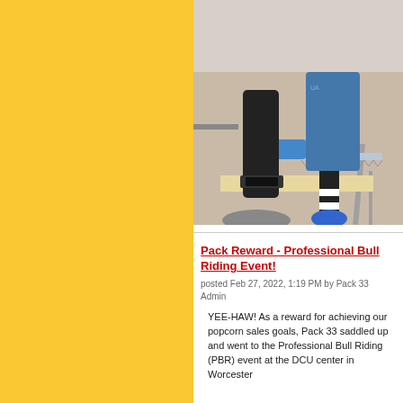[Figure (photo): Photograph of people sawing a piece of wood on a table, showing hands and lower body, indoors on carpet floor.]
Pack Reward - Professional Bull Riding Event!
posted Feb 27, 2022, 1:19 PM by Pack 33 Admin
YEE-HAW! As a reward for achieving our popcorn sales goals, Pack 33 saddled up and went to the Professional Bull Riding (PBR) event at the DCU center in Worcester